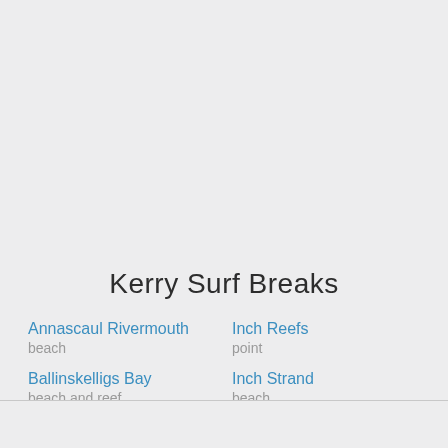Kerry Surf Breaks
Annascaul Rivermouth
beach
Ballinskelligs Bay
beach and reef
Ballybunion
Inch Reefs
point
Inch Strand
beach
Mossies